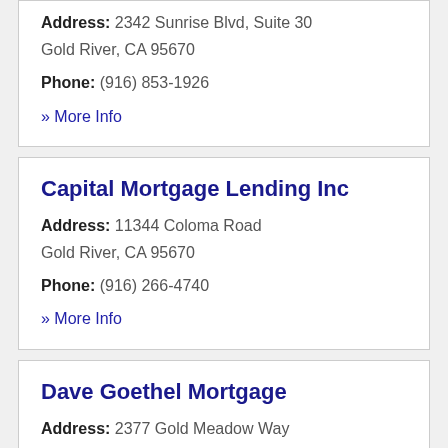Address: 2342 Sunrise Blvd, Suite 30
Gold River, CA 95670
Phone: (916) 853-1926
» More Info
Capital Mortgage Lending Inc
Address: 11344 Coloma Road
Gold River, CA 95670
Phone: (916) 266-4740
» More Info
Dave Goethel Mortgage
Address: 2377 Gold Meadow Way
Gold River, CA 95670